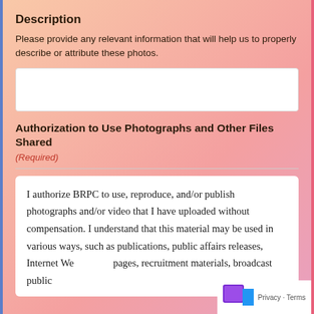Description
Please provide any relevant information that will help us to properly describe or attribute these photos.
[Figure (other): Empty white input text box for description]
Authorization to Use Photographs and Other Files Shared
(Required)
I authorize BRPC to use, reproduce, and/or publish photographs and/or video that I have uploaded without compensation. I understand that this material may be used in various ways, such as publications, public affairs releases, Internet Web pages, recruitment materials, broadcast public